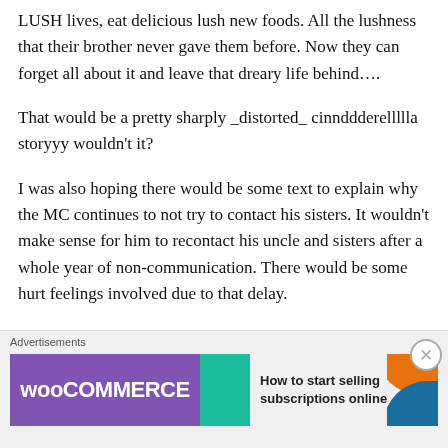LUSH lives, eat delicious lush new foods. All the lushness that their brother never gave them before. Now they can forget all about it and leave that dreary life behind….
That would be a pretty sharply _distorted_ cinnddderellllla storyyy wouldn't it?
I was also hoping there would be some text to explain why the MC continues to not try to contact his sisters. It wouldn't make sense for him to recontact his uncle and sisters after a whole year of non-communication. There would be some hurt feelings involved due to that delay.
[Figure (other): Advertisement banner: WooCommerce ad with purple background, teal arrow, orange and blue accent shapes. Text reads 'How to start selling subscriptions online']